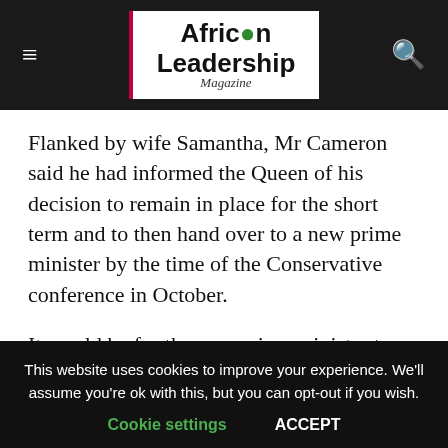African Leadership Magazine
Flanked by wife Samantha, Mr Cameron said he had informed the Queen of his decision to remain in place for the short term and to then hand over to a new prime minister by the time of the Conservative conference in October.
It would be for the new prime minister to carry out negotiations with the EU and invoke Article 50 of the Lisbon Treaty, which would give the UK two years to negotiate its withdrawal, he said.
This website uses cookies to improve your experience. We'll assume you're ok with this, but you can opt-out if you wish. Cookie settings ACCEPT